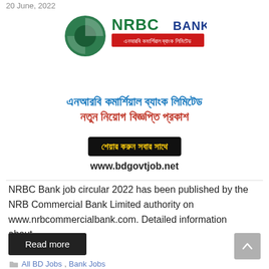20 June, 2022
[Figure (logo): NRBC Bank logo with green circular emblem and text 'NRBC BANK' in green and dark, with Bengali subtitle 'এনআরবি কমার্শিয়াল ব্যাংক লিমিটেড' on red background]
এনআরবি কমার্শিয়াল ব্যাংক লিমিটেড
নতুন নিয়োগ বিজ্ঞপ্তি প্রকাশ
শেয়ার করুন সবার সাথে
www.bdgovtjob.net
NRBC Bank job circular 2022 has been published by the NRB Commercial Bank Limited authority on www.nrbcommercialbank.com. Detailed information about …
Read more
All BD Jobs, Bank Jobs